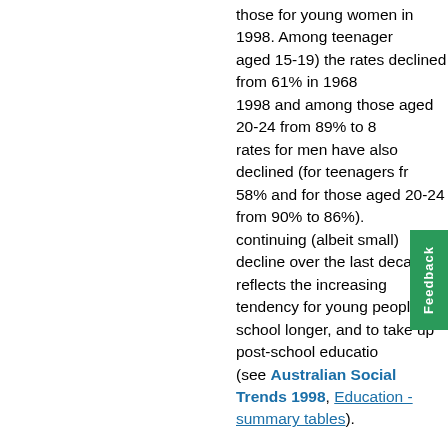those for young women in 1998. Among teenagers aged 15-19) the rates declined from 61% in 1968 1998 and among those aged 20-24 from 89% to 8 rates for men have also declined (for teenagers fr 58% and for those aged 20-24 from 90% to 86%). continuing (albeit small) decline over the last deca reflects the increasing tendency for young people school longer, and to take up post-school educatio (see Australian Social Trends 1998, Education - summary tables).
As well as the declines in participation rates, women (and men) are working in part-time jo because a larger number of them are students an because more jobs for young people are now cas The proportion of the female teenage workforce e part-time increased from 46% to 74% between 19 1998. (The proportion for teenage males also incr 29% to 51%.) In March 1998, 34% of female teen attending school were working part-time. For your attending tertiary education full-time, 46% of the t and 43% of 20-24 year olds were also working...